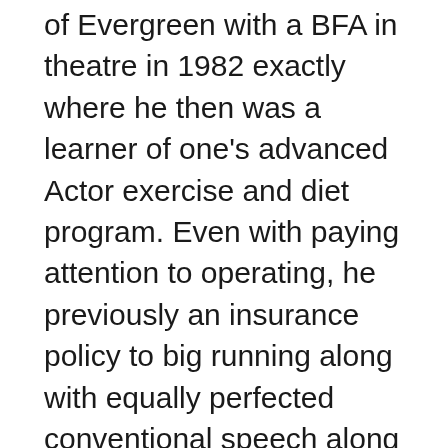of Evergreen with a BFA in theatre in 1982 exactly where he then was a learner of one's advanced Actor exercise and diet program. Even with paying attention to operating, he previously an insurance policy to big running along with equally perfected conventional speech along at the institution. Before her institution tests, Kyle behaved a front part of Brindsley craftsman in brown funny, Peters Shaffer's generation when in her upper same year, exactly where furthermore, tom behaved inside good woman as holly Higgins.